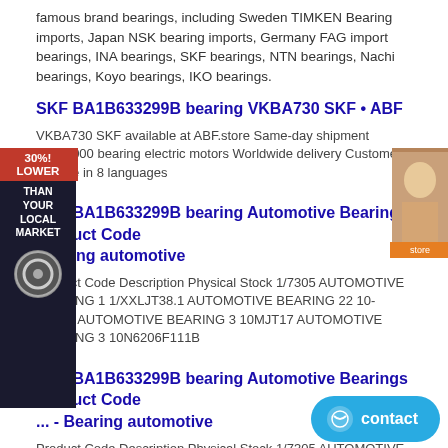famous brand bearings, including Sweden TIMKEN Bearing imports, Japan NSK bearing imports, Germany FAG import bearings, INA bearings, SKF bearings, NTN bearings, Nachi bearings, Koyo bearings, IKO bearings.
SKF BA1B633299B bearing VKBA730 SKF • ABF
VKBA730 SKF available at ABF.store Same-day shipment 8.000.000 bearings electric motors Worldwide delivery Customer Service in 8 languages
SKF BA1B633299B bearing Automotive Bearings Product Code Bearing automotive
Product Code Description Physical Stock 1/7305 AUTOMOTIVE BEARING 1 1/XXLJT38.1 AUTOMOTIVE BEARING 22 10-330PZ AUTOMOTIVE BEARING 3 10MJT17 AUTOMOTIVE BEARING 3 10N6206F111B
SKF BA1B633299B bearing Automotive Bearings Product Code ... - Bearing automotive
Product Code Description Physical Stock 1/7305 AUTOMOTIVE BEARING 1 1/XXLJT38.1 AUTOMOTIVE BEARING 22 10-330PZ AUTOMOTIVE BEARING 3 10MJT17 AUTOMOTIVE BEARING 3 10N6206F111B
SKF BA1B633299B bearing KOYO Bearings | SDF39Al Bearing | Low Price & For Degree
IBS Bearing WB1630121-1 KOYO Water Pump Bearings 88 water pump bearings, IBS /KOYO Product Details from Wuxi Ambition